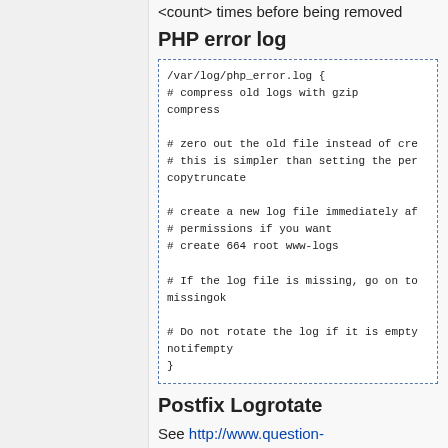<count> times before being removed
PHP error log
/var/log/php_error.log {
# compress old logs with gzip
compress

# zero out the old file instead of cre
# this is simpler than setting the per
copytruncate

# create a new log file immediately af
# permissions if you want
# create 664 root www-logs

# If the log file is missing, go on to
missingok

# Do not rotate the log if it is empty
notifempty
}
Postfix Logrotate
See http://www.question-defense.com/2010/01/10/postfix-logrotate-script-for-gentoo-linux
I prefer to run ours daily.